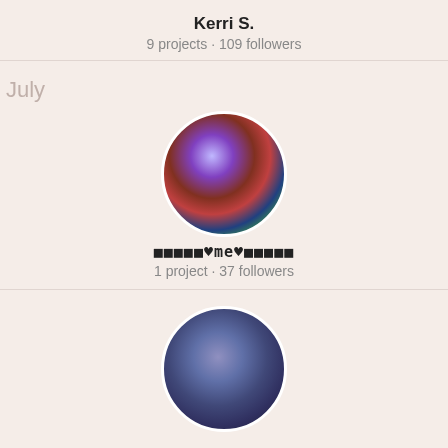Kerri S.
9 projects · 109 followers
July
[Figure (photo): Circular profile photo with colorful holographic filter effect]
⬛⬛⬛⬛⬛♥me♥⬛⬛⬛⬛⬛
1 project · 37 followers
[Figure (photo): Circular profile photo with blue/purple tones, person in jacket]